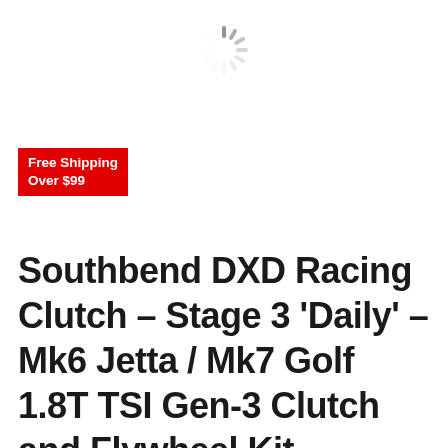[Figure (other): Loading spinner graphic — partial circular arrangement of gray lines radiating from center, resembling a browser loading indicator]
Free Shipping Over $99
Southbend DXD Racing Clutch – Stage 3 'Daily' – Mk6 Jetta / Mk7 Golf 1.8T TSI Gen-3 Clutch and Flywheel Kit